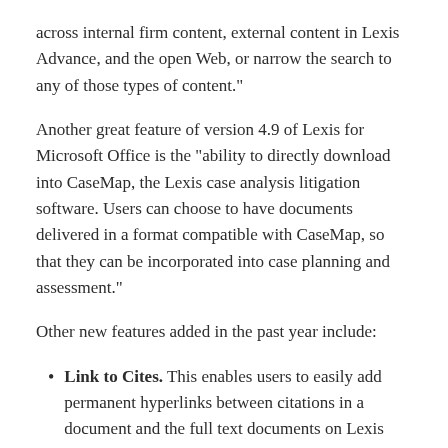across internal firm content, external content in Lexis Advance, and the open Web, or narrow the search to any of those types of content."
Another great feature of version 4.9 of Lexis for Microsoft Office is the "ability to directly download into CaseMap, the Lexis case analysis litigation software. Users can choose to have documents delivered in a format compatible with CaseMap, so that they can be incorporated into case planning and assessment."
Other new features added in the past year include:
Link to Cites. This enables users to easily add permanent hyperlinks between citations in a document and the full text documents on Lexis Advance. If you share the document with someone else, they can click on the link and open the pinpoint citation directly in a browser. The person does not need to have Lexis for Microsoft Office, but would need a